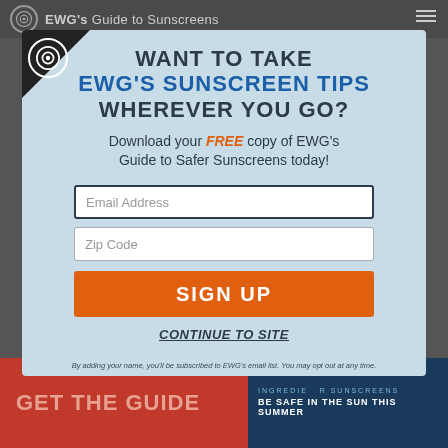EWG's Guide to Sunscreens
WANT TO TAKE EWG'S SUNSCREEN TIPS WHEREVER YOU GO?
Download your FREE copy of EWG's Guide to Safer Sunscreens today!
Email Address
Zip Code
SIGN UP
CONTINUE TO SITE
By adding your name, you'll be subscribed to EWG's email list. You may opt out at any time.
GET THE GUIDE